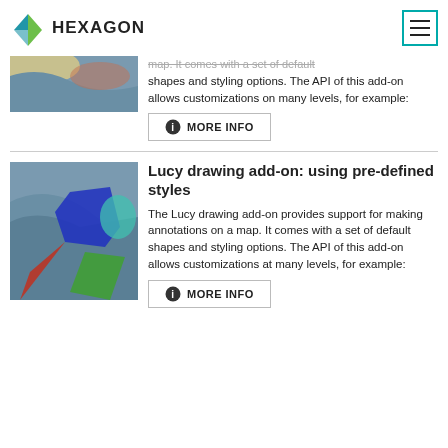HEXAGON
[Figure (screenshot): Map with colored geographic regions (partial, cropped at top)]
shapes and styling options. The API of this add-on allows customizations on many levels, for example:
MORE INFO
[Figure (screenshot): Map with colored geographic regions including blue polygon, red and green shapes]
Lucy drawing add-on: using pre-defined styles
The Lucy drawing add-on provides support for making annotations on a map. It comes with a set of default shapes and styling options. The API of this add-on allows customizations at many levels, for example:
MORE INFO